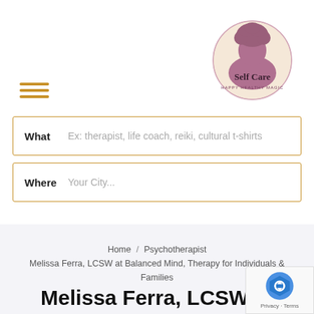[Figure (logo): Self Care Happy Healthy Magic logo — circular badge with silhouette of woman with natural hair in mauve/pink tones]
[Figure (other): Hamburger menu icon — three horizontal orange/gold lines]
What   Ex: therapist, life coach, reiki, cultural t-shirts
Where   Your City...
Home / Psychotherapist / Melissa Ferra, LCSW at Balanced Mind, Therapy for Individuals & Families
Melissa Ferra, LCSW at Balanced